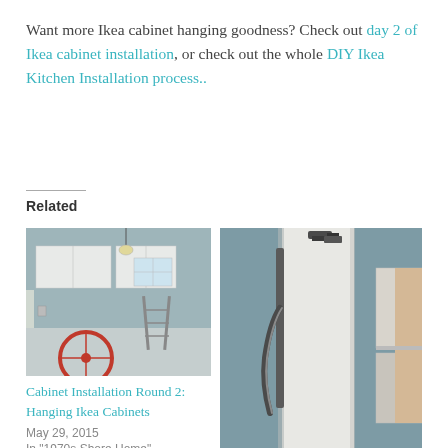Want more Ikea cabinet hanging goodness? Check out day 2 of Ikea cabinet installation, or check out the whole DIY Ikea Kitchen Installation process..
Related
[Figure (photo): Kitchen in progress with white cabinets hung on the wall, a window in the background, and a red and white bicycle wheel visible in the foreground.]
Cabinet Installation Round 2: Hanging Ikea Cabinets
May 29, 2015
In "1970s Shore Home"
[Figure (photo): Close-up photo of cabinet installation hardware, showing a metal bracket or rail being installed, with wood cabinet panels visible on the right side, against a blue-grey wall.]